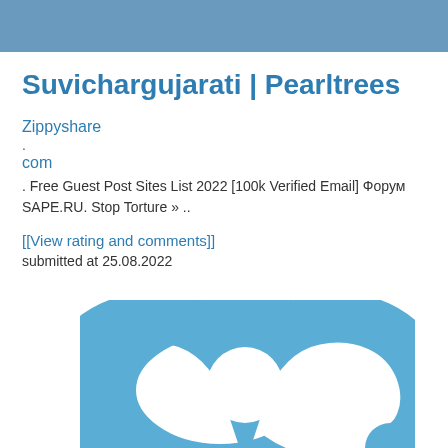Suvichargujarati | Pearltrees
Zippyshare
.
com
. Free Guest Post Sites List 2022 [100k Verified Email] Форум SAPE.RU. Stop Torture » ..
[[View rating and comments]]
submitted at 25.08.2022
[Figure (logo): Pearltrees logo — a blue curved shape resembling a stylized figure-8 or chain link, visible at the bottom of the page]